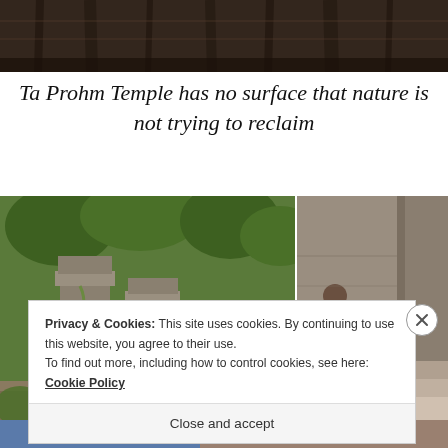[Figure (photo): Top strip of a stone temple carving/wall, dark tones]
Ta Prohm Temple has no surface that nature is not trying to reclaim
[Figure (photo): Ta Prohm temple ruins overgrown with trees and vegetation]
[Figure (photo): Two children sitting on stone steps at Angkor temple]
Privacy & Cookies: This site uses cookies. By continuing to use this website, you agree to their use.
To find out more, including how to control cookies, see here: Cookie Policy
Close and accept
[Figure (photo): Bottom strip showing partial images below cookie banner]